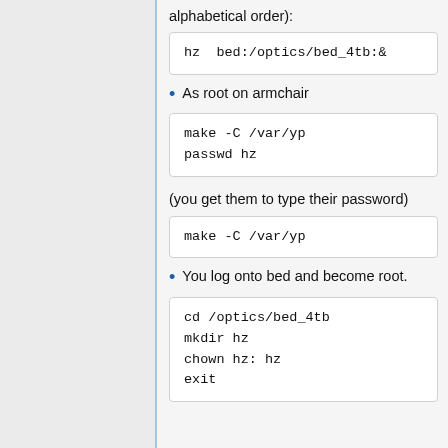alphabetical order):
hz  bed:/optics/bed_4tb:&
As root on armchair
make -C /var/yp
passwd hz
(you get them to type their password)
make -C /var/yp
You log onto bed and become root.
cd /optics/bed_4tb
mkdir hz
chown hz: hz
exit